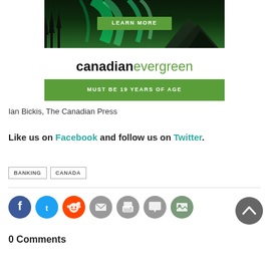[Figure (photo): Advertisement for canadianevergreen with northern lights background, 'LEARN MORE' button, brand name 'canadianevergreen', and 'MUST BE 19 YEARS OF AGE' footer bar]
Ian Bickis, The Canadian Press
Like us on Facebook and follow us on Twitter.
BANKING   CANADA
[Figure (infographic): Social sharing icons row: Facebook (blue), Twitter (light blue), Reddit (orange), Email (grey), Print (grey), Comment (grey), Image (green-grey), and scroll-to-top arrow button (dark grey)]
0 Comments